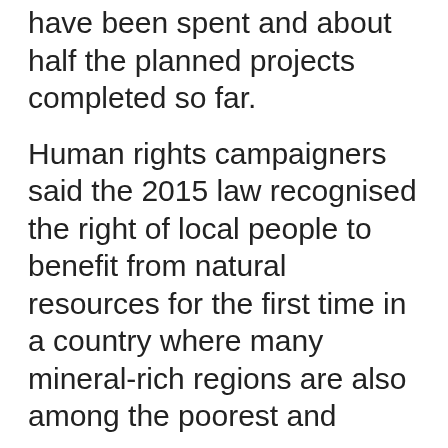have been spent and about half the planned projects completed so far.
Human rights campaigners said the 2015 law recognised the right of local people to benefit from natural resources for the first time in a country where many mineral-rich regions are also among the poorest and
We use cookies
We use cookies and other tracking technologies to improve your browsing experience on our website, to show you personalized content and targeted ads, to analyze our website traffic, and to understand where our visitors are coming from.